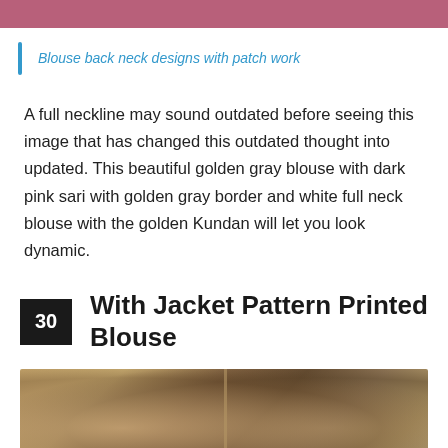[Figure (photo): Partial top image showing clothing fabric in dark pink/maroon color]
Blouse back neck designs with patch work
A full neckline may sound outdated before seeing this image that has changed this outdated thought into updated. This beautiful golden gray blouse with dark pink sari with golden gray border and white full neck blouse with the golden Kundan will let you look dynamic.
30  With Jacket Pattern Printed Blouse
[Figure (photo): Two women wearing traditional Indian sarees and blouses, standing in front of a stone wall background]